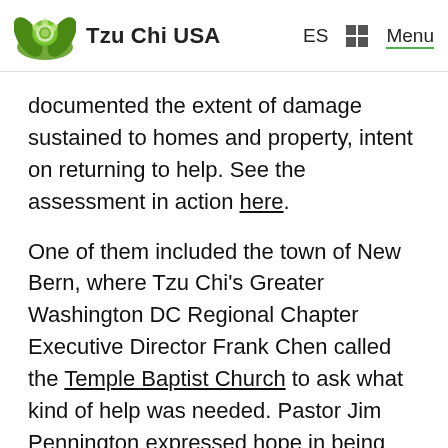Tzu Chi USA   ES   Menu
documented the extent of damage sustained to homes and property, intent on returning to help. See the assessment in action here.
One of them included the town of New Bern, where Tzu Chi's Greater Washington DC Regional Chapter Executive Director Frank Chen called the Temple Baptist Church to ask what kind of help was needed. Pastor Jim Pennington expressed hope in being able to work together for the betterment of the community, across religious borders.